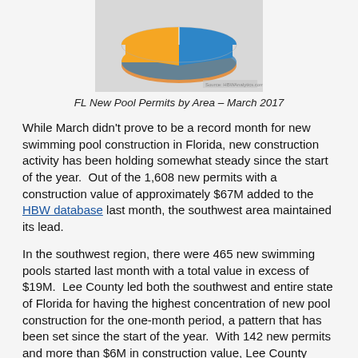[Figure (pie-chart): FL New Pool Permits by Area – March 2017 pie chart showing orange and blue segments]
FL New Pool Permits by Area – March 2017
While March didn't prove to be a record month for new swimming pool construction in Florida, new construction activity has been holding somewhat steady since the start of the year.  Out of the 1,608 new permits with a construction value of approximately $67M added to the HBW database last month, the southwest area maintained its lead.
In the southwest region, there were 465 new swimming pools started last month with a total value in excess of $19M.  Lee County led both the southwest and entire state of Florida for having the highest concentration of new pool construction for the one-month period, a pattern that has been set since the start of the year.  With 142 new permits and more than $6M in construction value, Lee County continues to set the pace for pool starts.  The pool builders leading construction in the southwest portion of the state